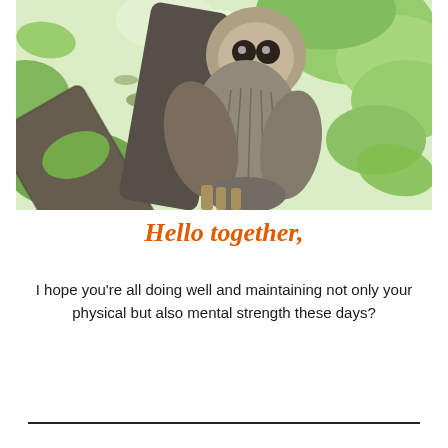[Figure (photo): A barred owl perched on a tree branch surrounded by green leaves. The owl is viewed from below, showing its mottled brown and white feathered body clinging to a moss-covered diagonal branch. Green maple leaves fill the background.]
Hello together,
I hope you're all doing well and maintaining not only your physical but also mental strength these days?